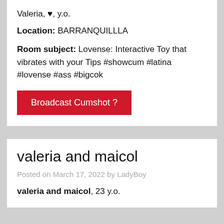Valeria, ♥, y.o.
Location: BARRANQUILLLA
Room subject: Lovense: Interactive Toy that vibrates with your Tips #showcum #latina #lovense #ass #bigcok
[Figure (other): Red button labeled 'Broadcast Cumshot ?']
valeria and maicol
Posted on March 17, 2022 by LadyBoy
valeria and maicol, 23 y.o.